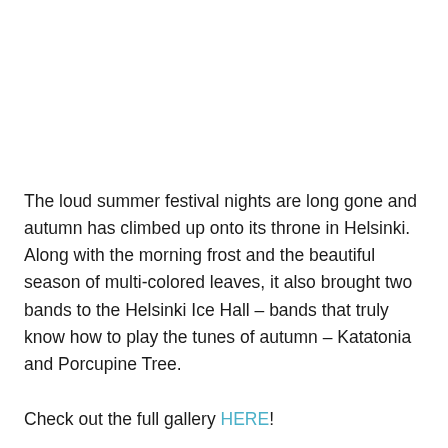The loud summer festival nights are long gone and autumn has climbed up onto its throne in Helsinki. Along with the morning frost and the beautiful season of multi-colored leaves, it also brought two bands to the Helsinki Ice Hall – bands that truly know how to play the tunes of autumn – Katatonia and Porcupine Tree.
Check out the full gallery HERE!